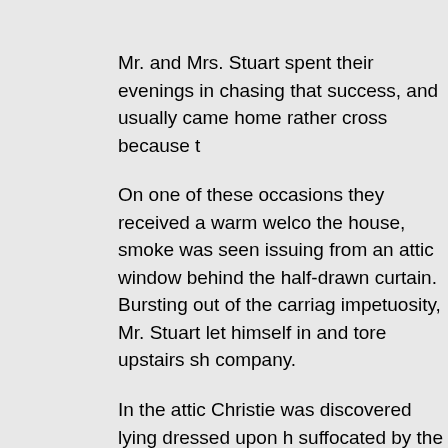Mr. and Mrs. Stuart spent their evenings in chasing that success, and usually came home rather cross because t
On one of these occasions they received a warm welco the house, smoke was seen issuing from an attic window behind the half-drawn curtain. Bursting out of the carriag impetuosity, Mr. Stuart let himself in and tore upstairs sh company.
In the attic Christie was discovered lying dressed upon h suffocated by the smoke that filled the room. A book had and in falling had upset the candle on a chair beside her against a cotton gown hanging on the wall, and a greate wardrobe was burning brilliantly.
“I forbade her to keep the gas lighted so late, and see w has done with her private candle!” cried Mrs. Stuart with girl from her heavy sleep more effectually than the anath fulminating against the fire.
Sitting up she looked dizzily about her. The smoke was c having been opened; and the tableau was a striking one countenance was dancing frantically on a heap of half-co